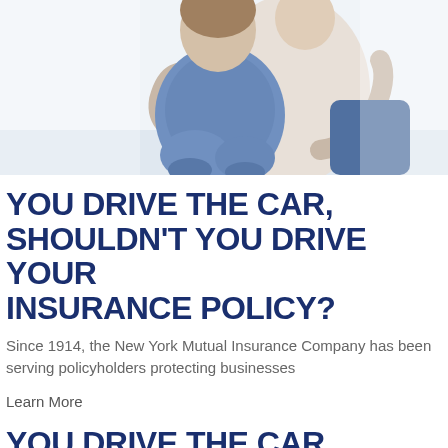[Figure (photo): Two people sitting together, one embracing the other from behind. The person in front wears a blue knit sweater/wrap and has knees pulled up. Light, bright background.]
YOU DRIVE THE CAR, SHOULDN'T YOU DRIVE YOUR INSURANCE POLICY?
Since 1914, the New York Mutual Insurance Company has been serving policyholders protecting businesses
Learn More
YOU DRIVE THE CAR,